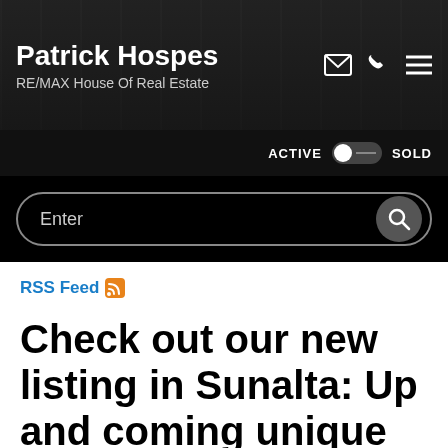Patrick Hospes
RE/MAX House Of Real Estate
ACTIVE    SOLD
[Figure (screenshot): Search bar with 'Enter' placeholder text and a search icon button on the right]
RSS Feed
Check out our new listing in Sunalta: Up and coming unique community